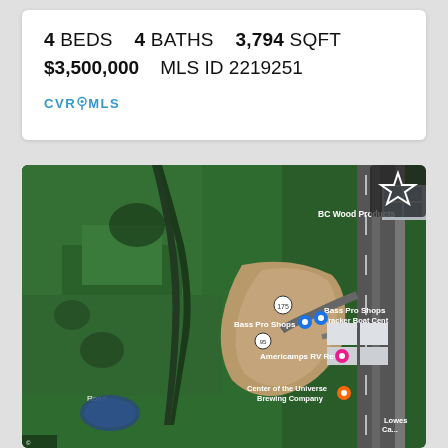4 BEDS   4 BATHS   3,794 SQFT
$3,500,000   MLS ID 2219251
[Figure (logo): CVRMLS logo in teal/blue color with map pin icon]
[Figure (map): Satellite/aerial map view showing wooded area with Lickinghole Creek, roads including a major highway on the right side, Bass Pro Shops, Bass Pro Shops Tracker Boat Center, BC Wood Products, Americamps RV Resort, Center of the Universe Brewing Company, and a star/favorite icon in upper right corner.]